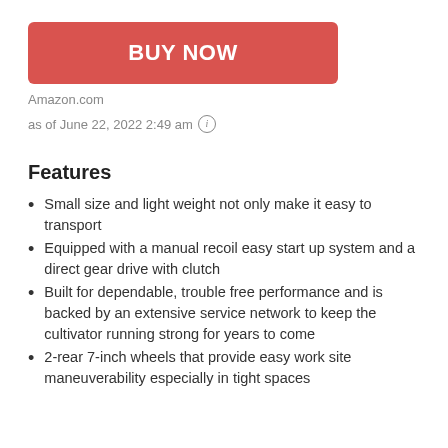[Figure (other): Red BUY NOW button]
Amazon.com
as of June 22, 2022 2:49 am ⓘ
Features
Small size and light weight not only make it easy to transport
Equipped with a manual recoil easy start up system and a direct gear drive with clutch
Built for dependable, trouble free performance and is backed by an extensive service network to keep the cultivator running strong for years to come
2-rear 7-inch wheels that provide easy work site maneuverability especially in tight spaces